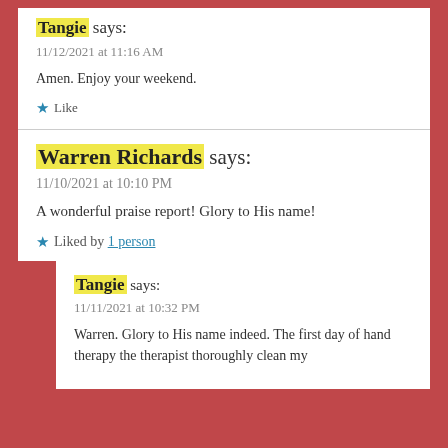Tangie says:
11/12/2021 at 11:16 AM
Amen. Enjoy your weekend.
Like
Warren Richards says:
11/10/2021 at 10:10 PM
A wonderful praise report! Glory to His name!
Liked by 1 person
Tangie says:
11/11/2021 at 10:32 PM
Warren. Glory to His name indeed. The first day of hand therapy the therapist thoroughly clean my